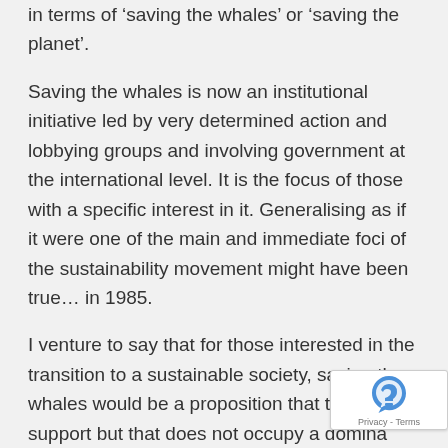in terms of 'saving the whales' or 'saving the planet'.
Saving the whales is now an institutional initiative led by very determined action and lobbying groups and involving government at the international level. It is the focus of those with a specific interest in it. Generalising as if it were one of the main and immediate foci of the sustainability movement might have been true... in 1985.
I venture to say that for those interested in the transition to a sustainable society, saving the whales would be a proposition that they support but that does not occupy a dominant part of their time.